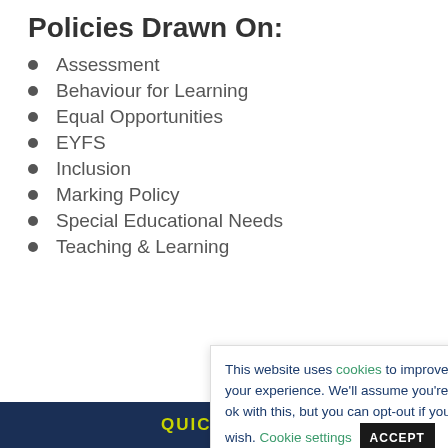Policies Drawn On:
Assessment
Behaviour for Learning
Equal Opportunities
EYFS
Inclusion
Marking Policy
Special Educational Needs
Teaching & Learning
Committee
Curriculum
Policy to be
This website uses cookies to improve your experience. We'll assume you're ok with this, but you can opt-out if you wish. Cookie settings ACCEPT
QUICKLINKS